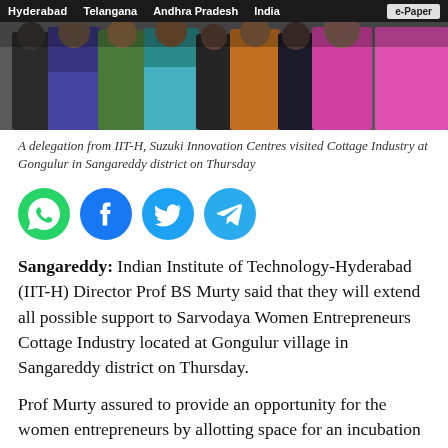Hyderabad  Telangana  Andhra Pradesh  India  e-Paper
[Figure (photo): Group photo of a delegation visiting Cottage Industry, showing multiple people standing together]
A delegation from IIT-H, Suzuki Innovation Centres visited Cottage Industry at Gongulur in Sangareddy district on Thursday
[Figure (infographic): Social media sharing icons: WhatsApp (green), Facebook (dark blue), Twitter (light blue), Telegram (blue)]
Sangareddy: Indian Institute of Technology-Hyderabad (IIT-H) Director Prof BS Murty said that they will extend all possible support to Sarvodaya Women Entrepreneurs Cottage Industry located at Gongulur village in Sangareddy district on Thursday.
Prof Murty assured to provide an opportunity for the women entrepreneurs by allotting space for an incubation Centre at Research and Incubation Park